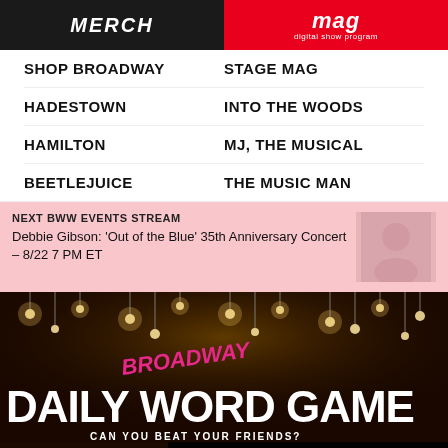[Figure (screenshot): Two promotional banners side by side: left is dark with 'MERCH' text, right is red with 'mag digital show program' text]
SHOP BROADWAY
STAGE MAG
HADESTOWN
INTO THE WOODS
HAMILTON
MJ, THE MUSICAL
BEETLEJUICE
THE MUSIC MAN
NEXT BWW EVENTS STREAM
Debbie Gibson: 'Out of the Blue' 35th Anniversary Concert – 8/22 7 PM ET
[Figure (screenshot): Broadway Daily Word Game banner - dark background with hanging lights, pink Broadway text overlaid, large white text saying DAILY WORD GAME, subtitle CAN YOU BEAT YOUR FRIENDS?]
#TBT: IN THE HEIGHTS Says Goodbye To Broadway
Enter Your E-mail
Sign Up